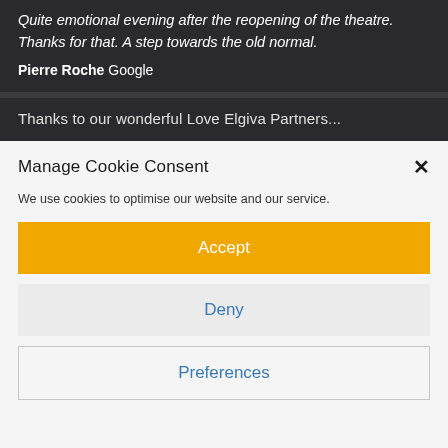Quite emotional evening after the reopening of the theatre. Thanks for that. A step towards the old normal.
Pierre Roche Google
Thanks to our wonderful Love Elgiva Partners...
Manage Cookie Consent
We use cookies to optimise our website and our service.
Accept
Deny
Preferences